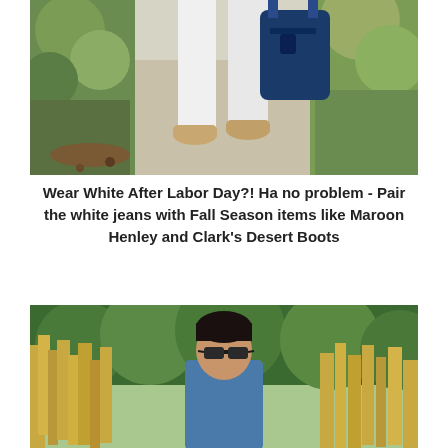[Figure (photo): Close-up photo of a person walking on a sidewalk wearing white jeans, tan desert boots, and holding a navy blue bag. Green foliage visible on sides.]
Wear White After Labor Day?! Ha no problem - Pair the white jeans with Fall Season items like Maroon Henley and Clark's Desert Boots
[Figure (photo): Photo of a young man wearing sunglasses and a blue shirt, sitting outdoors among tall golden grasses and green trees in the background.]